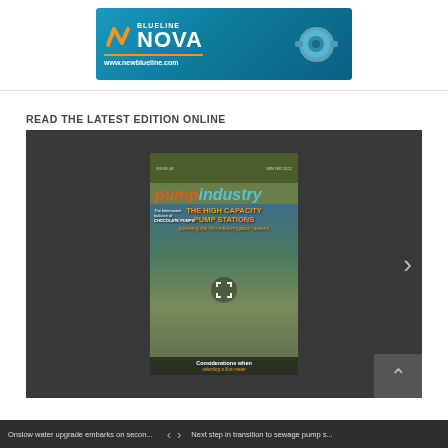[Figure (advertisement): BLUEline NOVA advertisement banner with orange N logo, white NOVA text, orange horizontal line, and www.newblueline.com URL on a blue gradient background with a pump/gearbox image on the right]
READ THE LATEST EDITION ONLINE
[Figure (screenshot): Magazine viewer showing Pump Industry magazine cover with headline 'THE HIGH CAPACITY PUMP STATIONS powering the Wimmera irrigation network', featuring a viewfinder icon overlay, chocolate pumps article teaser, and 'Considerations when selecting a flow meter' at bottom. Dark grey viewer background with right arrow navigation and down arrow in bottom-right corner.]
Onslow water upgrade embarks on secon... < > Next step in transition to sewage pump s...